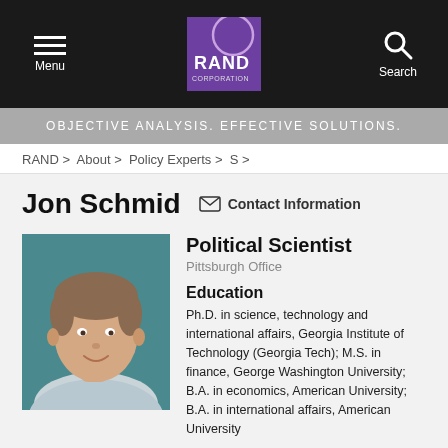Menu | RAND Corporation | Search
OBJECTIVE ANALYSIS. EFFECTIVE SOLUTIONS.
RAND > About > Policy Experts > S >
Jon Schmid
Contact Information
[Figure (photo): Headshot photo of Jon Schmid, a man with short brown hair, smiling, wearing a light blue shirt against a teal background]
Political Scientist
Pittsburgh Office
Education
Ph.D. in science, technology and international affairs, Georgia Institute of Technology (Georgia Tech); M.S. in finance, George Washington University; B.A. in economics, American University; B.A. in international affairs, American University